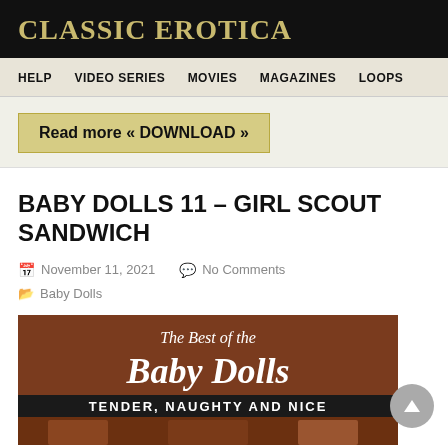CLASSIC EROTICA
HELP  VIDEO SERIES  MOVIES  MAGAZINES  LOOPS
Read more « DOWNLOAD »
BABY DOLLS 11 – GIRL SCOUT SANDWICH
November 11, 2021  No Comments
Baby Dolls
[Figure (photo): Book cover: The Best of the Baby Dolls – TENDER, NAUGHTY AND NICE, brown cover with white text]